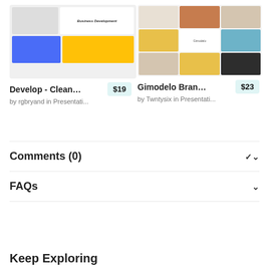[Figure (screenshot): Product card thumbnail for Develop - Clean presentation template]
Develop - Clean ...
$19
by rgbryand in Presentati...
[Figure (screenshot): Product card thumbnail for Gimodelo Brand presentation template]
Gimodelo Brand -...
$23
by Twntysix in Presentati...
Comments (0)
FAQs
Keep Exploring